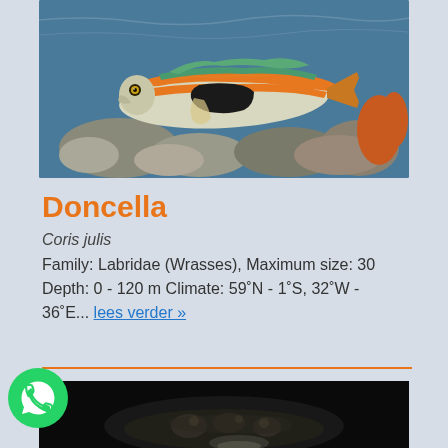[Figure (photo): Underwater photo of Coris julis (rainbow wrasse) fish swimming near rocky seabed. Fish has orange and black stripe along its body with silver underside.]
Doncella
Coris julis
Family: Labridae (Wrasses), Maximum size: 30
Depth: 0 - 120 m Climate: 59˚N - 1˚S, 32˚W - 36˚E... lees verder »
[Figure (photo): Underwater dark photo of another fish species, partially visible, showing light-colored markings against dark background.]